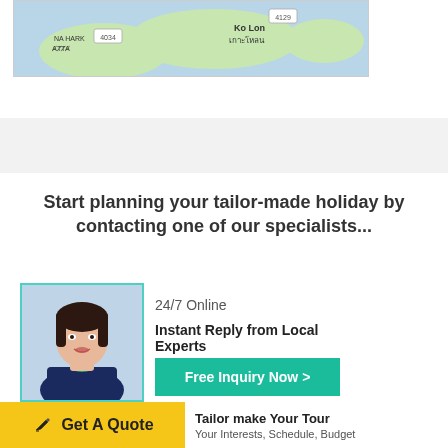[Figure (map): Map showing Ko Lon island area in Thailand with road markers 4034 and 4129]
Start planning your tailor-made holiday by contacting one of our specialists...
[Figure (photo): Photo of a young Asian woman specialist wearing a dark blue uniform with green collar]
24/7 Online
Instant Reply from Local Experts
Free Inquiry Now >
Get A Quote
Tailor make Your Tour
Your Interests, Schedule, Budget